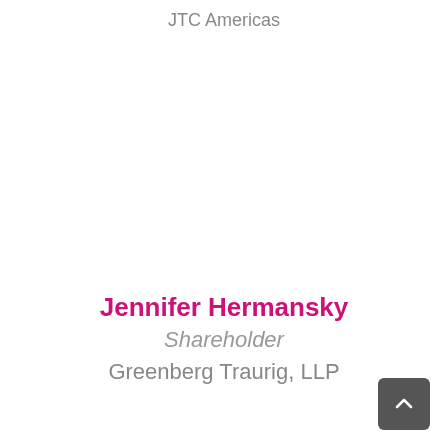JTC Americas
Jennifer Hermansky
Shareholder
Greenberg Traurig, LLP